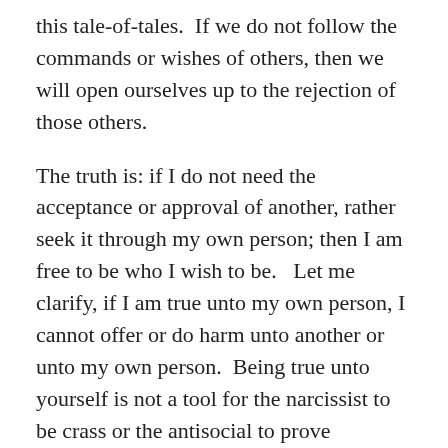this tale-of-tales.  If we do not follow the commands or wishes of others, then we will open ourselves up to the rejection of those others.
The truth is: if I do not need the acceptance or approval of another, rather seek it through my own person; then I am free to be who I wish to be.   Let me clarify, if I am true unto my own person, I cannot offer or do harm unto another or unto my own person.  Being true unto yourself is not a tool for the narcissist to be crass or the antisocial to prove egregious in nature.  Rather, being true unto yourself says that you rely upon your own person for personal gratification, favor, and respect.
Consider the following:  If a young person is in constant need of approval from a particular person, then what occurs when that person suddenly is